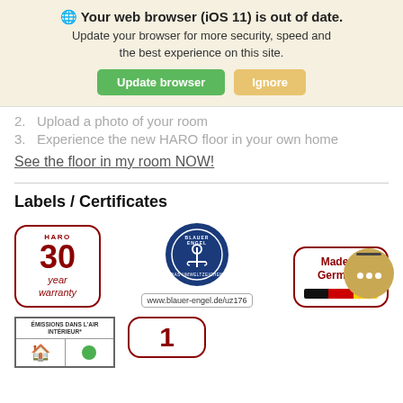🌐 Your web browser (iOS 11) is out of date. Update your browser for more security, speed and the best experience on this site.
Update browser | Ignore
2. Upload a photo of your room
3. Experience the new HARO floor in your own home
See the floor in my room NOW!
Labels / Certificates
[Figure (logo): HARO 30 year warranty badge (dark red rounded border)]
[Figure (logo): Blauer Engel certification logo circle with www.blauer-engel.de/uz176]
[Figure (logo): Made in Germany badge with German flag colors]
[Figure (logo): Emissions Dans L'Air Intérieur certification badge]
[Figure (logo): Partially visible red rounded badge at bottom right]